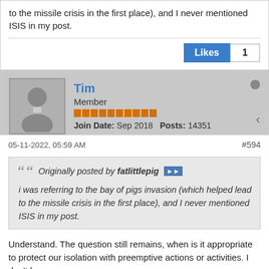to the missile crisis in the first place), and I never mentioned ISIS in my post.
Likes 1
Tim
Member
Join Date: Sep 2018  Posts: 14351
05-11-2022, 05:59 AM
#594
Originally posted by fatlittlepig
i was referring to the bay of pigs invasion (which helped lead to the missile crisis in the first place), and I never mentioned ISIS in my post.
Understand. The question still remains, when is it appropriate to protect our isolation with preemptive actions or activities. I don't know.
I am more concerned with domestically motivated military, and